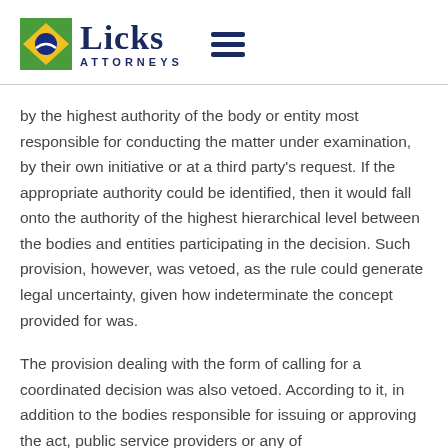[Figure (logo): Licks Attorneys logo with Brazilian flag icon and hamburger menu icon]
by the highest authority of the body or entity most responsible for conducting the matter under examination, by their own initiative or at a third party's request. If the appropriate authority could be identified, then it would fall onto the authority of the highest hierarchical level between the bodies and entities participating in the decision. Such provision, however, was vetoed, as the rule could generate legal uncertainty, given how indeterminate the concept provided for was.
The provision dealing with the form of calling for a coordinated decision was also vetoed. According to it, in addition to the bodies responsible for issuing or approving the act, public service providers or any of